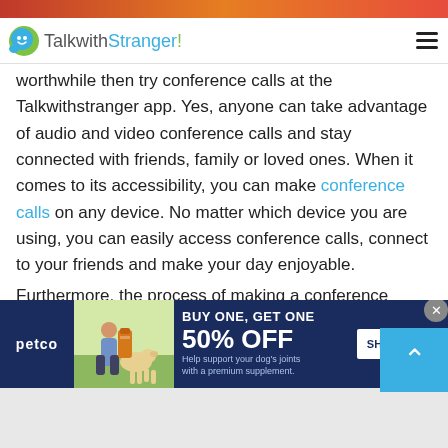TalkwithStranger!
worthwhile then try conference calls at the Talkwithstranger app. Yes, anyone can take advantage of audio and video conference calls and stay connected with friends, family or loved ones. When it comes to its accessibility, you can make conference calls on any device. No matter which device you are using, you can easily access conference calls, connect to your friends and make your day enjoyable.

Furthermore, the process of making a conference
[Figure (screenshot): Petco advertisement banner: BUY ONE, GET ONE 50% OFF with SHOP NOW button. Features image of woman with dog and supplement product.]